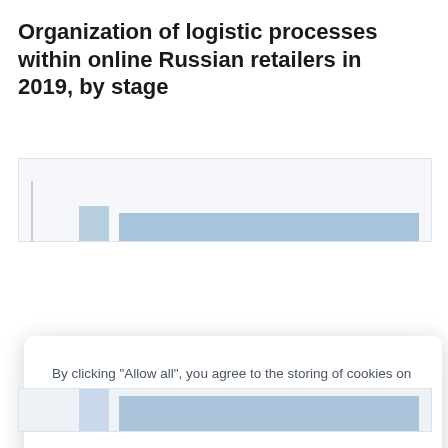Organization of logistic processes within online Russian retailers in 2019, by stage
[Figure (screenshot): Cookie consent modal dialog overlay on top of a partially visible bar chart. The modal contains text about cookie consent, a 'Privacy Statement' link, an 'Allow all' button, and a 'Cookie Consent Manager' link.]